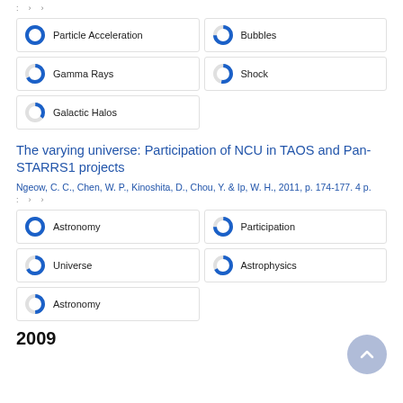: › ›
Particle Acceleration
Bubbles
Gamma Rays
Shock
Galactic Halos
The varying universe: Participation of NCU in TAOS and Pan-STARRS1 projects
Ngeow, C. C., Chen, W. P., Kinoshita, D., Chou, Y. & Ip, W. H., 2011, p. 174-177. 4 p.
: › ›
Astronomy
Participation
Universe
Astrophysics
Astronomy
2009